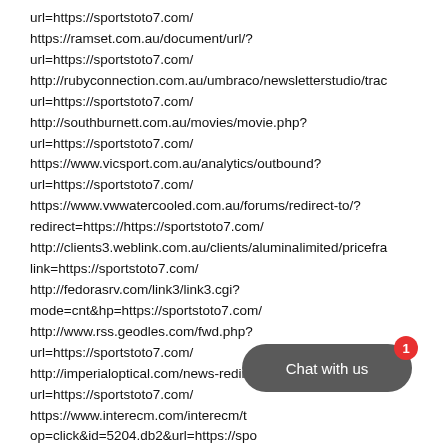url=https://sportstoto7.com/
https://ramset.com.au/document/url/?
url=https://sportstoto7.com/
http://rubyconnection.com.au/umbraco/newsletterstudio/trac
url=https://sportstoto7.com/
http://southburnett.com.au/movies/movie.php?
url=https://sportstoto7.com/
https://www.vicsport.com.au/analytics/outbound?
url=https://sportstoto7.com/
https://www.vwwatercooled.com.au/forums/redirect-to/?
redirect=https://https://sportstoto7.com/
http://clients3.weblink.com.au/clients/aluminalimited/pricefra
link=https://sportstoto7.com/
http://fedorasrv.com/link3/link3.cgi?
mode=cnt&hp=https://sportstoto7.com/
http://www.rss.geodles.com/fwd.php?
url=https://sportstoto7.com/
http://imperialoptical.com/news-redirect.aspx?
url=https://sportstoto7.com/
https://www.interecm.com/interecm/t
op=click&id=5204.db2&url=https://spo
http://kenchow.keensdesign.com/out.php?
[Figure (other): Chat widget button with 'Chat with us' text and a red notification badge showing '1']